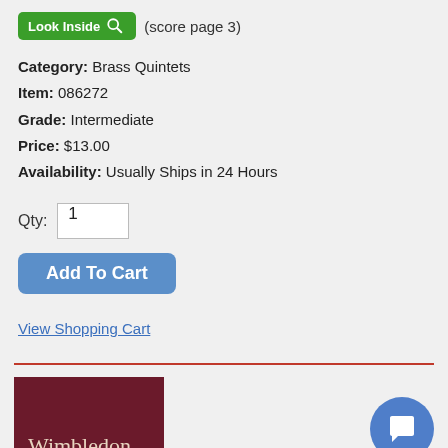[Figure (screenshot): Green 'Look Inside' button with magnifier icon]
(score page 3)
Category: Brass Quintets
Item: 086272
Grade: Intermediate
Price: $13.00
Availability: Usually Ships in 24 Hours
Qty: 1
[Figure (screenshot): Blue 'Add To Cart' button]
View Shopping Cart
[Figure (screenshot): Dark red/maroon book cover showing 'Wimbledon' text with decorative triangular shapes]